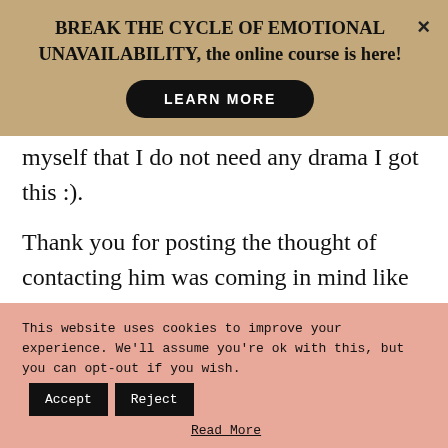BREAK THE CYCLE OF EMOTIONAL UNAVAILABILITY, the online course is here!
LEARN MORE
myself that I do not need any drama I got this :).
Thank you for posting the thought of contacting him was coming in mind like every 5 min this will help a lot
This website uses cookies to improve your experience. We'll assume you're ok with this, but you can opt-out if you wish.
Read More